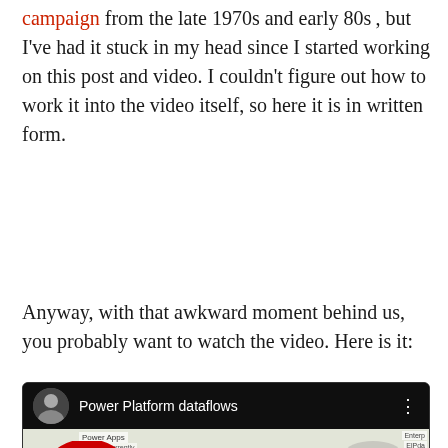campaign from the late 1970s and early 80s , but I've had it stuck in my head since I started working on this post and video. I couldn't figure out how to work it into the video itself, so here it is in written form.
Anyway, with that awkward moment behind us, you probably want to watch the video. Here is it:
[Figure (screenshot): YouTube video embed showing 'Power Platform dataflows' with a thumbnail containing bold text 'Power BI lower Platform flows', a red 'no' symbol overlay, a YouTube play button, and a person speaking on the right side.]